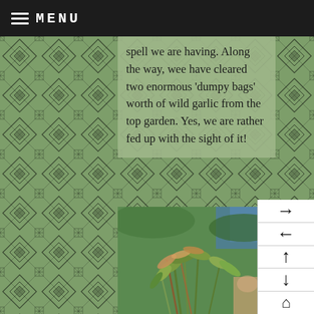≡ MENU
spell we are having. Along the way, wee have cleared two enormous 'dumpy bags' worth of wild garlic from the top garden. Yes, we are rather fed up with the sight of it!
[Figure (photo): Close-up photo of green and reddish-brown plant stems with small leaves, with blurred green background]
[Figure (other): Navigation arrows panel with right, left, up, down, and home buttons]